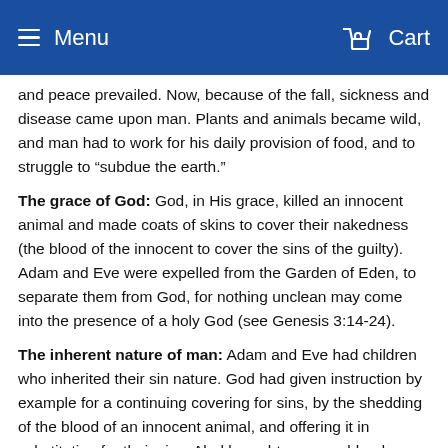Menu   Cart
and peace prevailed. Now, because of the fall, sickness and disease came upon man. Plants and animals became wild, and man had to work for his daily provision of food, and to struggle to “subdue the earth.”
The grace of God: God, in His grace, killed an innocent animal and made coats of skins to cover their nakedness (the blood of the innocent to cover the sins of the guilty). Adam and Eve were expelled from the Garden of Eden, to separate them from God, for nothing unclean may come into the presence of a holy God (see Genesis 3:14-24).
The inherent nature of man: Adam and Eve had children who inherited their sin nature. God had given instruction by example for a continuing covering for sins, by the shedding of the blood of an innocent animal, and offering it in substitution for their sins. Abel brought a proper blood sacrifice, and God accepted it. Cain brought the fruit of his labor as an offering for